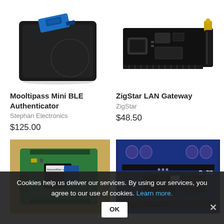[Figure (photo): Mooltipass Mini BLE Authenticator device — black square pad with blue USB key on top]
[Figure (photo): ZigStar LAN Gateway — black PCB circuit board with gold antenna connector and ethernet port]
Mooltipass Mini BLE Authenticator
Stephan Electronics
$125.00
ZigStar LAN Gateway
ZigStar
$48.50
[Figure (photo): Green circuit board close-up with WiFi module and pin headers — HassioMan v4.0]
[Figure (photo): Blue circuit board close-up with components including capacitors and chips]
Cookies help us deliver our services. By using our services, you agree to our use of cookies. Learn more.